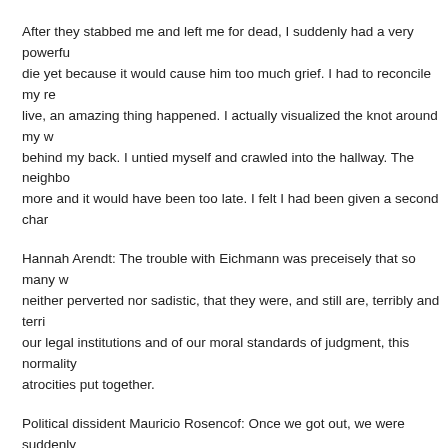After they stabbed me and left me for dead, I suddenly had a very powerful thought: I couldn't die yet because it would cause him too much grief. I had to reconcile my resolve to fight to live, an amazing thing happened. I actually visualized the knot around my wrists, which were behind my back. I untied myself and crawled into the hallway. The neighbor found me. A few more and it would have been too late. I felt I had been given a second chance.
Hannah Arendt: The trouble with Eichmann was preceisely that so many were like him, and that the many were neither perverted nor sadistic, that they were, and still are, terribly and terrifyingly normal. From the viewpoint of our legal institutions and of our moral standards of judgment, this normality was much more terrifying than all the atrocities put together.
Political dissident Mauricio Rosencof: Once we got out, we were suddenly faced with a reality we couldn't manage. Ridiculous problems – doorknobs, for instance. I had no reflex any longer to open a door because I hadn't had to – hadn't been allowed to – for over 13 years. I'd come to a closed door and I'd be stymied, I couldn't remember what to do next. Or how to make a dark room bright. Or how to greet friends, answer questions. My daughter tells me to do this or that, and one time I comply and another but when the third request comes I can hear her voice but my head is lost in
Children
Every time I tried to figure out a system to deal with her, the rules would ch